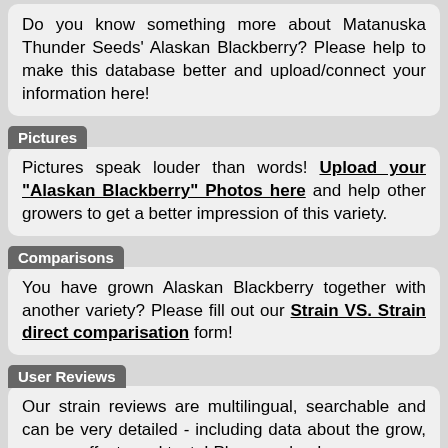Do you know something more about Matanuska Thunder Seeds' Alaskan Blackberry? Please help to make this database better and upload/connect your information here!
Pictures
Pictures speak louder than words! Upload your "Alaskan Blackberry" Photos here and help other growers to get a better impression of this variety.
Comparisons
You have grown Alaskan Blackberry together with another variety? Please fill out our Strain VS. Strain direct comparisation form!
User Reviews
Our strain reviews are multilingual, searchable and can be very detailed - including data about the grow, aroma, effects and taste! Please upload your